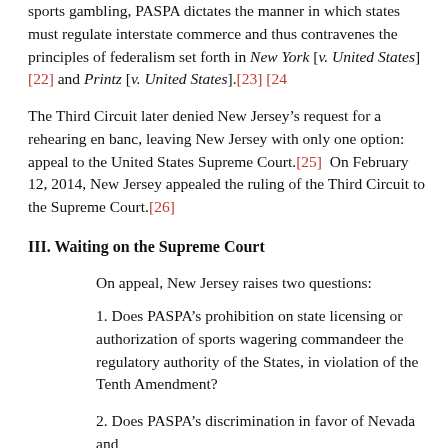sports gambling, PASPA dictates the manner in which states must regulate interstate commerce and thus contravenes the principles of federalism set forth in New York [v. United States] [22] and Printz [v. United States].[23] [24
The Third Circuit later denied New Jersey’s request for a rehearing en banc, leaving New Jersey with only one option: appeal to the United States Supreme Court.[25]  On February 12, 2014, New Jersey appealed the ruling of the Third Circuit to the Supreme Court.[26]
III. Waiting on the Supreme Court
On appeal, New Jersey raises two questions:
1. Does PASPA’s prohibition on state licensing or authorization of sports wagering commandeer the regulatory authority of the States, in violation of the Tenth Amendment?
2. Does PASPA’s discrimination in favor of Nevada and